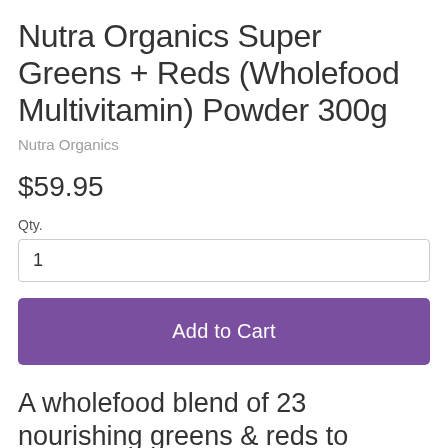Nutra Organics Super Greens + Reds (Wholefood Multivitamin) Powder 300g
Nutra Organics
$59.95
Qty.
1
Add to Cart
A wholefood blend of 23 nourishing greens & reds to support immunity, gut